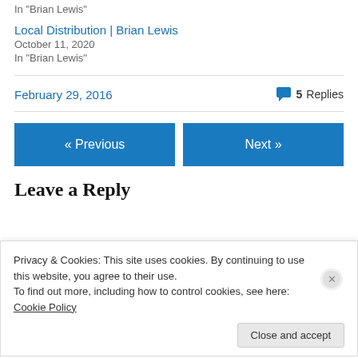In "Brian Lewis"
Local Distribution | Brian Lewis
October 11, 2020
In "Brian Lewis"
February 29, 2016
5 Replies
« Previous
Next »
Leave a Reply
Privacy & Cookies: This site uses cookies. By continuing to use this website, you agree to their use.
To find out more, including how to control cookies, see here: Cookie Policy
Close and accept